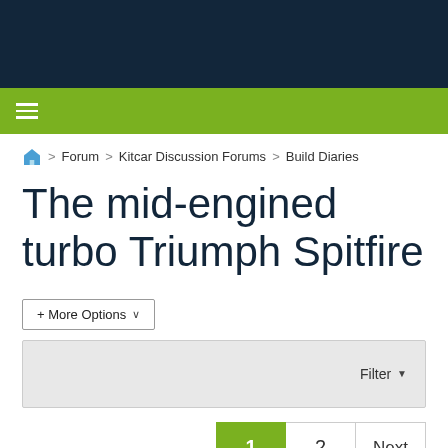≡
Home > Forum > Kitcar Discussion Forums > Build Diaries
The mid-engined turbo Triumph Spitfire
+ More Options ∨
Filter ▼
1  2  Next